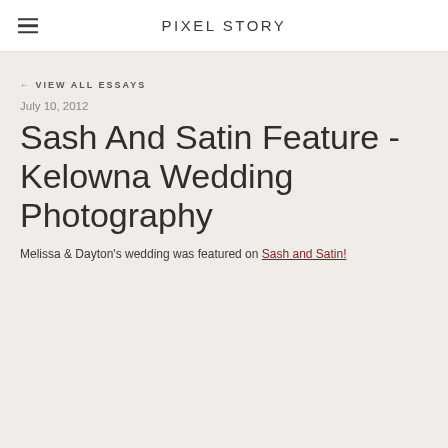PIXEL STORY
← VIEW ALL ESSAYS
July 10, 2012
Sash And Satin Feature - Kelowna Wedding Photography
Melissa & Dayton's wedding was featured on Sash and Satin!